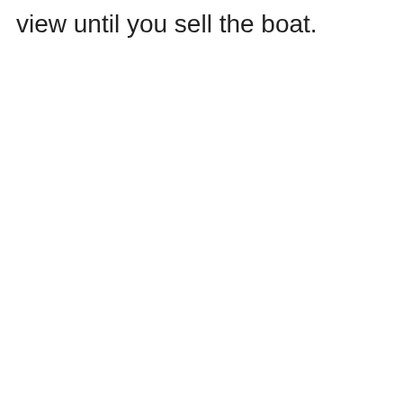view until you sell the boat.
[Figure (screenshot): Advertisement banner at bottom: CM logo (dark blue with yellow 'cm' text), checkmarks for In-store shopping, Curbside pickup, Delivery, and a blue navigation diamond icon on the right. Above the ad bar is a gray search/overlay bar with a close button.]